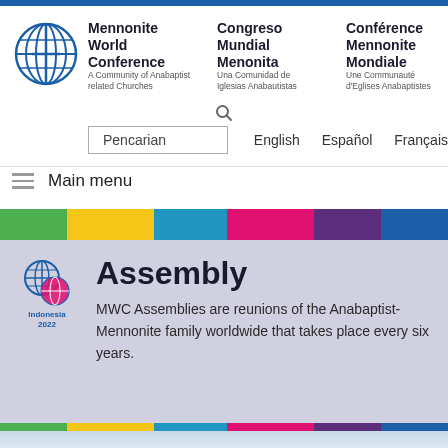[Figure (logo): Mennonite World Conference globe logo — circular icon with globe grid lines and a cross, in blue outline]
Mennonite World Conference | A Community of Anabaptist related Churches | Congreso Mundial Menonita | Una Comunidad de Iglesias Anabautistas | Conférence Mennonite Mondiale | Une Communauté d'Eglises Anabaptistes
Pencarian   English   Español   Français
Main menu
[Figure (infographic): Horizontal color stripe bar: green, yellow, blue, red/pink, purple, navy blue]
[Figure (logo): Indonesia 2022 MWC Assembly logo — blue globe icon with red/pink circular design, text Indonesia 2022 below]
Assembly
MWC Assemblies are reunions of the Anabaptist-Mennonite family worldwide that takes place every six years.
[Figure (infographic): Horizontal color stripe bar at bottom: green, yellow, blue, red/pink, purple, navy]